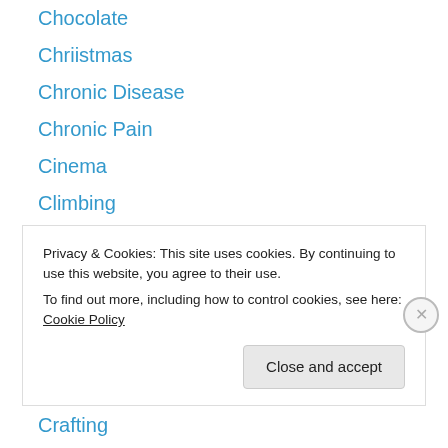Chocolate
Chriistmas
Chronic Disease
Chronic Pain
Cinema
Climbing
coffee
Cold & Flu
Concert
Confessions
Contemporary Romance
Crafting
Creativity
Privacy & Cookies: This site uses cookies. By continuing to use this website, you agree to their use. To find out more, including how to control cookies, see here: Cookie Policy
Close and accept